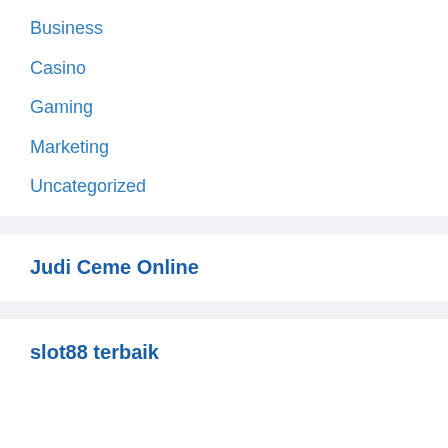Business
Casino
Gaming
Marketing
Uncategorized
Judi Ceme Online
slot88 terbaik